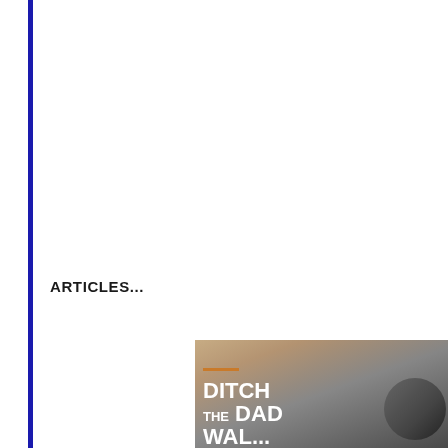ARTICLES...
[Figure (photo): A hand pulling a slim card-holder wallet from a jeans pocket. An orange decorative line appears above large white bold text reading 'DITCH THE DAD WALLET' on a dark overlay.]